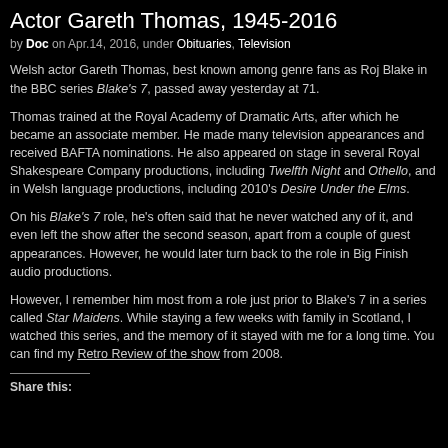Actor Gareth Thomas, 1945-2016
by Doc on Apr.14, 2016, under Obituaries, Television
Welsh actor Gareth Thomas, best known among genre fans as Roj Blake in the BBC series Blake's 7, passed away yesterday at 71.
Thomas trained at the Royal Academy of Dramatic Arts, after which he became an associate member. He made many television appearances and received BAFTA nominations. He also appeared on stage in several Royal Shakespeare Company productions, including Twelfth Night and Othello, and in Welsh language productions, including 2010's Desire Under the Elms.
On his Blake's 7 role, he's often said that he never watched any of it, and even left the show after the second season, apart from a couple of guest appearances. However, he would later turn back to the role in Big Finish audio productions.
However, I remember him most from a role just prior to Blake's 7 in a series called Star Maidens. While staying a few weeks with family in Scotland, I watched this series, and the memory of it stayed with me for a long time. You can find my Retro Review of the show from 2008.
Share this: